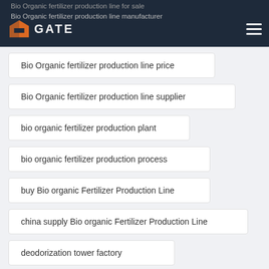GATE - Bio Organic fertilizer production line manufacturer
Bio Organic fertilizer production line price
Bio Organic fertilizer production line supplier
bio organic fertilizer production plant
bio organic fertilizer production process
buy Bio organic Fertilizer Production Line
china supply Bio organic Fertilizer Production Line
deodorization tower factory
Granule Automatic Packing Machine For sale
Hot sale Rotary drum drying machine